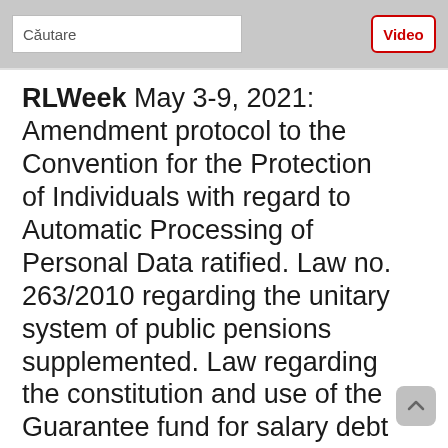Căutare | Video
RLWeek May 3-9, 2021: Amendment protocol to the Convention for the Protection of Individuals with regard to Automatic Processing of Personal Data ratified. Law no. 263/2010 regarding the unitary system of public pensions supplemented. Law regarding the constitution and use of the Guarantee fund for salary debt amended. Pharmaceutical specialty nomenclature amended.EGO liberalising the